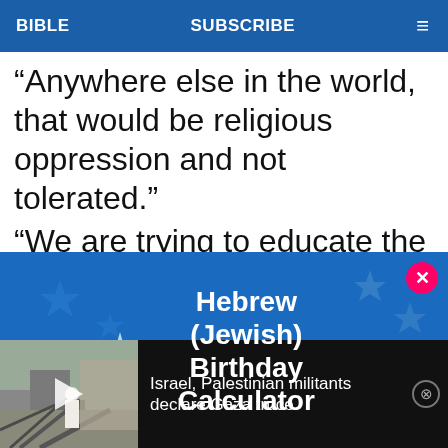BIBLE   SUBSCRIBE   ≡
“Anywhere else in the world, that would be religious oppression and not tolerated.”
“We are trying to educate the Christian
[Figure (infographic): Advertisement overlay for Hebrew (Jewish) Birthday Calculator with blue background and star decorations, with pink close button]
[Figure (photo): Video thumbnail showing man in white robe standing in rubble/destroyed building. News headline reads: Israel, Palestinian militants declare Gaza truce]